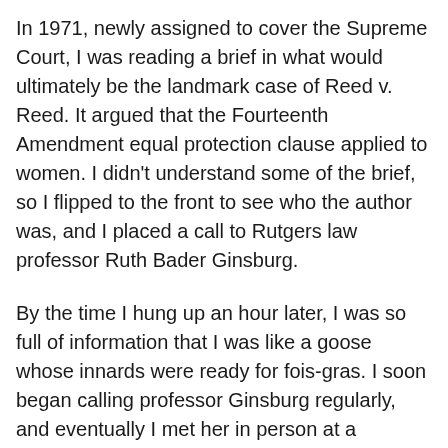In 1971, newly assigned to cover the Supreme Court, I was reading a brief in what would ultimately be the landmark case of Reed v. Reed. It argued that the Fourteenth Amendment equal protection clause applied to women. I didn't understand some of the brief, so I flipped to the front to see who the author was, and I placed a call to Rutgers law professor Ruth Bader Ginsburg.
By the time I hung up an hour later, I was so full of information that I was like a goose whose innards were ready for fois-gras. I soon began calling professor Ginsburg regularly, and eventually I met her in person at a conference in New York. We never did agree what the subject of that conference was, but take my word for it, it was boring. So boring that we...well, we went shopping.
We would become professional friends, and later, close friends after she moved to Washington to serve on the federal appeals court here and later